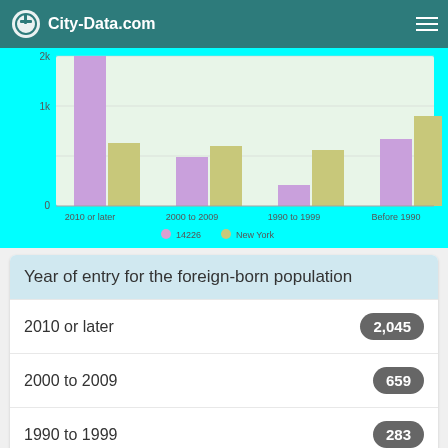[Figure (screenshot): City-Data.com website header with logo and hamburger menu on teal background]
[Figure (grouped-bar-chart): Year of entry for the foreign-born population]
| Year of entry for the foreign-born population | Value |
| --- | --- |
| 2010 or later | 2,045 |
| 2000 to 2009 | 659 |
| 1990 to 1999 | 283 |
| Before 1990 |  |